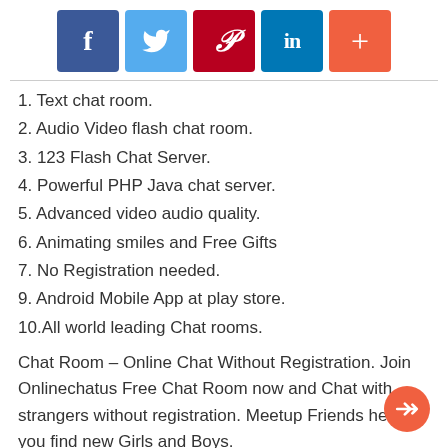[Figure (infographic): Social sharing buttons: Facebook (dark blue), Twitter (light blue), Pinterest (dark red), LinkedIn (blue), Plus/More (orange-red)]
1. Text chat room.
2. Audio Video flash chat room.
3. 123 Flash Chat Server.
4. Powerful PHP Java chat server.
5. Advanced video audio quality.
6. Animating smiles and Free Gifts
7. No Registration needed.
9. Android Mobile App at play store.
10.All world leading Chat rooms.
Chat Room – Online Chat Without Registration. Join Onlinechatus Free Chat Room now and Chat with strangers without registration. Meetup Friends helps you find new Girls and Boys.